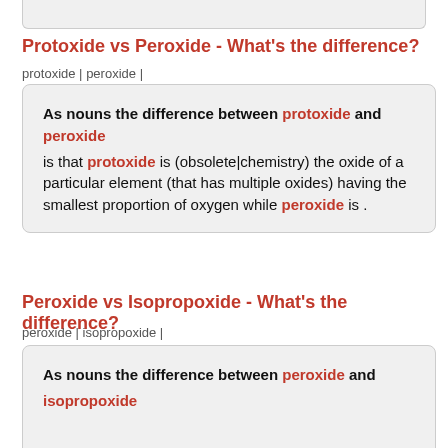Protoxide vs Peroxide - What's the difference?
protoxide | peroxide |
As nouns the difference between protoxide and peroxide is that protoxide is (obsolete|chemistry) the oxide of a particular element (that has multiple oxides) having the smallest proportion of oxygen while peroxide is .
Peroxide vs Isopropoxide - What's the difference?
peroxide | isopropoxide |
As nouns the difference between peroxide and isopropoxide